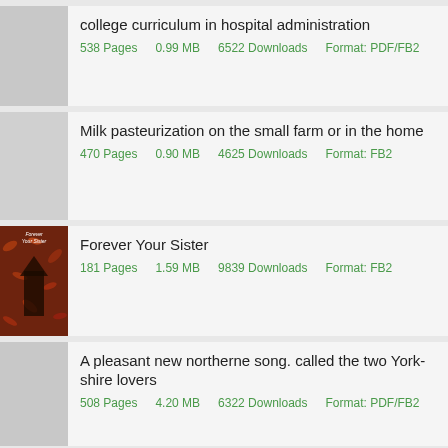college curriculum in hospital administration
538 Pages   0.99 MB   6522 Downloads   Format: PDF/FB2
Milk pasteurization on the small farm or in the home
470 Pages   0.90 MB   4625 Downloads   Format: FB2
Forever Your Sister
181 Pages   1.59 MB   9839 Downloads   Format: FB2
A pleasant new northerne song. called the two York-shire lovers
508 Pages   4.20 MB   6322 Downloads   Format: PDF/FB2